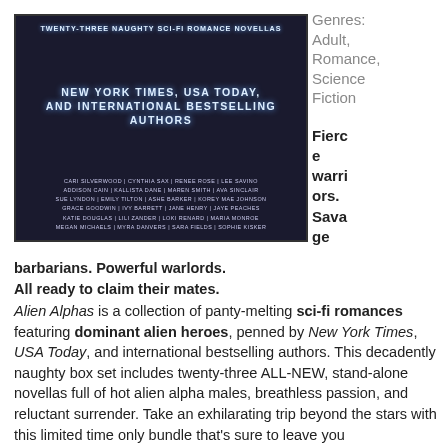[Figure (illustration): Book cover for 'Alien Alphas' anthology showing armored sci-fi figures. Text reads: 'Twenty-Three Naughty Sci-Fi Romance Novellas' at top, 'New York Times, USA Today, and International Bestselling Authors' in center, followed by author names: Cari Silverwood, Cynthia Sax, Renee Rose, Lee Savino, Addison Cain, Kallista Dane, Maren Smith, Ava Sinclair, Sue Lyndon, Emily Tilton, Ashe Barker, Korey Mae Johnson, Grace Goodwin, Ivy Barrett, Jane Henry, Jaye Peaches, Katie Douglas, Lili Zander, Loki Renard, Maria Monroe, Megan Michaels, Myra Danvers, Sara Fields, Sophie Kisker.]
Genres: Adult, Romance, Science Fiction
Fierce warriors. Savage barbarians. Powerful warlords. All ready to claim their mates.
Alien Alphas is a collection of panty-melting sci-fi romances featuring dominant alien heroes, penned by New York Times, USA Today, and international bestselling authors. This decadently naughty box set includes twenty-three ALL-NEW, stand-alone novellas full of hot alien alpha males, breathless passion, and reluctant surrender. Take an exhilarating trip beyond the stars with this limited time only bundle that's sure to leave you